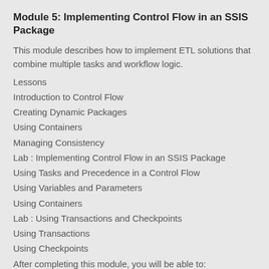Module 5: Implementing Control Flow in an SSIS Package
This module describes how to implement ETL solutions that combine multiple tasks and workflow logic.
Lessons
Introduction to Control Flow
Creating Dynamic Packages
Using Containers
Managing Consistency
Lab : Implementing Control Flow in an SSIS Package
Using Tasks and Precedence in a Control Flow
Using Variables and Parameters
Using Containers
Lab : Using Transactions and Checkpoints
Using Transactions
Using Checkpoints
After completing this module, you will be able to: